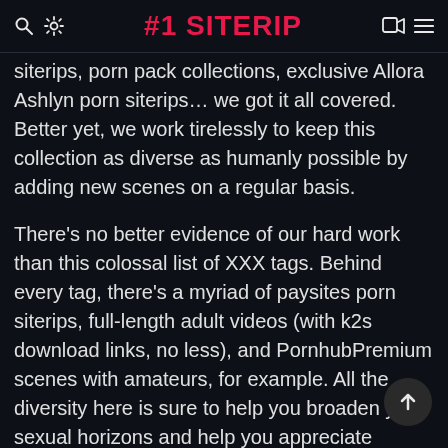#1 SITERIP
siterips, porn pack collections, exclusive Allora Ashlyn porn siterips… we got it all covered. Better yet, we work tirelessly to keep this collection as diverse as humanly possible by adding new scenes on a regular basis.
There's no better evidence of our hard work than this colossal list of XXX tags. Behind every tag, there's a myriad of paysites porn siterips, full-length adult videos (with k2s download links, no less), and PornhubPremium scenes with amateurs, for example. All the diversity here is sure to help you broaden your sexual horizons and help you appreciate differen pornographic subgenres and offshoots. With ou eclectic selection, you will be able to look deeper